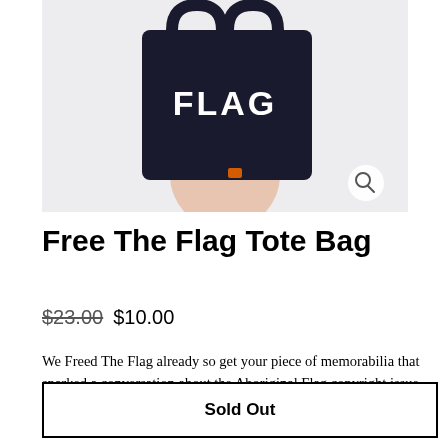[Figure (photo): Product photo of a dark navy tote bag with 'FLAG' text printed in white, held by a person, with a magnifying glass icon in the bottom-right corner of the image.]
Free The Flag Tote Bag
$23.00  $10.00
We Freed The Flag already so get your piece of memorabilia that sparked a conversation about the Aboriginal Flag copyright issue.

Only a few remain!
Sold Out